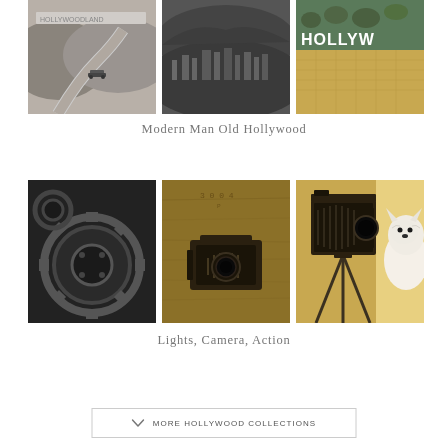[Figure (photo): Three photos: vintage black-and-white Hollywood sign with old car on winding road, black-and-white aerial view of Hollywood sign and city, color aerial view of Hollywood sign from above with city]
Modern Man Old Hollywood
[Figure (photo): Three photos: close-up black-and-white mechanical gears/engine parts, sepia-toned vintage folding camera on aged background, sepia-toned large format camera on tripod with white dog]
Lights, Camera, Action
MORE HOLLYWOOD COLLECTIONS